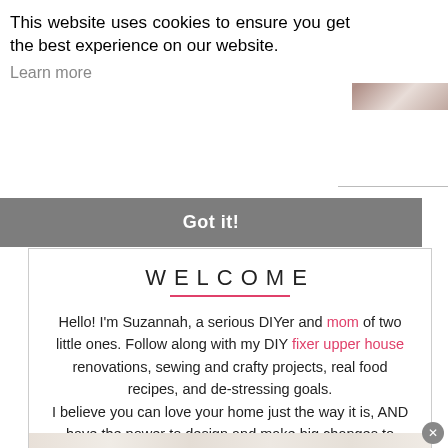This website uses cookies to ensure you get the best experience on our website. Learn more
[Figure (photo): Photo of wardrobe/closet with hanging items]
Got it!
WELCOME
Hello! I'm Suzannah, a serious DIYer and mom of two little ones. Follow along with my DIY fixer upper house renovations, sewing and crafty projects, real food recipes, and de-stressing goals. I believe you can love your home just the way it is, AND have the power to design and make big changes to make it better. I'm also the author of DIY Wardrobe Makeovers!
[Figure (photo): Photo of wardrobe/closet doors at bottom of page]